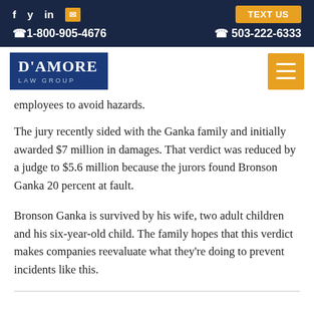f  y  in  [envelope]  TEXT US  ☎1-800-905-4676  ☎ 503-222-6333
[Figure (logo): D'Amore Law Group logo — white text on dark blue background, with hamburger menu button in orange on the right]
employees to avoid hazards.
The jury recently sided with the Ganka family and initially awarded $7 million in damages. That verdict was reduced by a judge to $5.6 million because the jurors found Bronson Ganka 20 percent at fault.
Bronson Ganka is survived by his wife, two adult children and his six-year-old child. The family hopes that this verdict makes companies reevaluate what they're doing to prevent incidents like this.